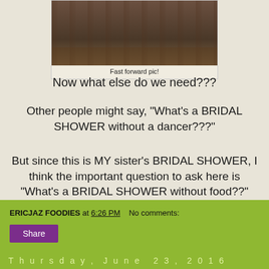[Figure (photo): Group photo of people at a bridal shower event]
Fast forward pic!
Now what else do we need???
Other people might say, "What's a BRIDAL SHOWER without a dancer???"
But since this is MY sister's BRIDAL SHOWER, I think the important question to ask here is "What's a BRIDAL SHOWER without food??"
ERICJAZ FOODIES at 6:26 PM   No comments:   Share
Thursday, June 23, 2016